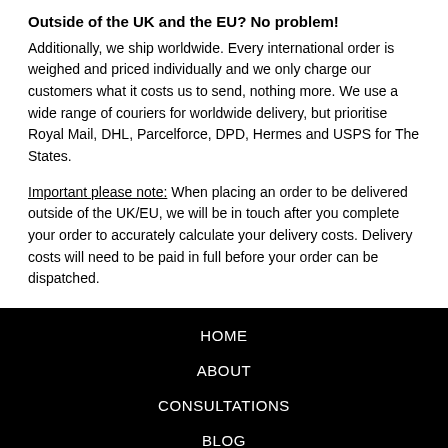Outside of the UK and the EU? No problem!
Additionally, we ship worldwide. Every international order is weighed and priced individually and we only charge our customers what it costs us to send, nothing more. We use a wide range of couriers for worldwide delivery, but prioritise Royal Mail, DHL, Parcelforce, DPD, Hermes and USPS for The States.
Important please note: When placing an order to be delivered outside of the UK/EU, we will be in touch after you complete your order to accurately calculate your delivery costs. Delivery costs will need to be paid in full before your order can be dispatched.
HOME
ABOUT
CONSULTATIONS
BLOG
CONTACT US